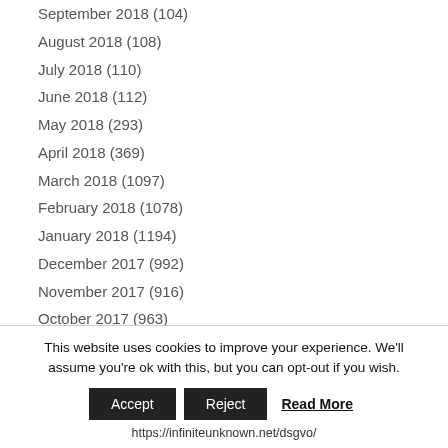September 2018 (104)
August 2018 (108)
July 2018 (110)
June 2018 (112)
May 2018 (293)
April 2018 (369)
March 2018 (1097)
February 2018 (1078)
January 2018 (1194)
December 2017 (992)
November 2017 (916)
October 2017 (963)
September 2017 (905)
August 2017 (1029)
July 2017 (1022)
This website uses cookies to improve your experience. We'll assume you're ok with this, but you can opt-out if you wish. Accept Reject Read More https://infiniteunknown.net/dsgvo/